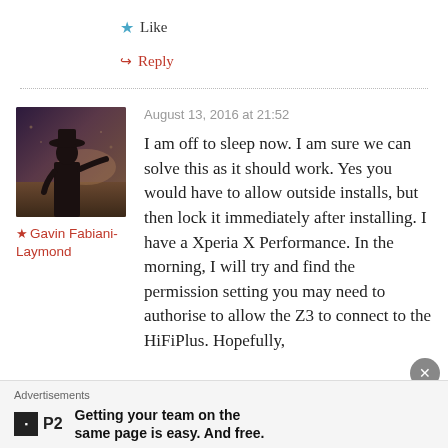★ Like
↪ Reply
[Figure (photo): Avatar photo of person silhouette with hat against outdoor background]
★ Gavin Fabiani-Laymond
August 13, 2016 at 21:52
I am off to sleep now. I am sure we can solve this as it should work. Yes you would have to allow outside installs, but then lock it immediately after installing. I have a Xperia X Performance. In the morning, I will try and find the permission setting you may need to authorise to allow the Z3 to connect to the HiFiPlus. Hopefully,
Advertisements
Getting your team on the same page is easy. And free.